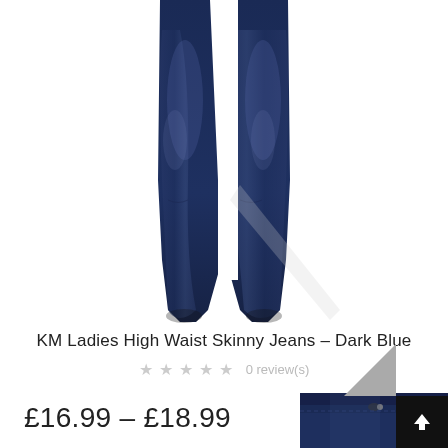[Figure (photo): Photo of dark blue ladies high waist skinny jeans, showing legs from thighs down against white background]
KM Ladies High Waist Skinny Jeans – Dark Blue
0 review(s)
£16.99 – £18.99
[Figure (photo): Partial bottom image of dark blue jeans waistband]